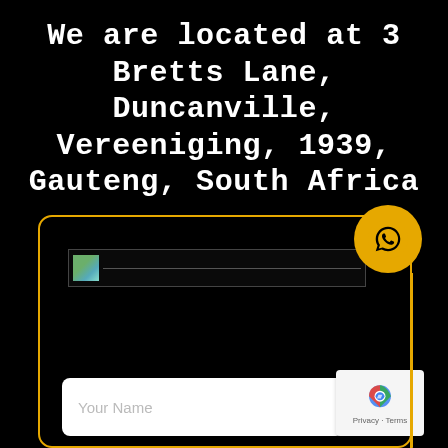We are located at 3 Bretts Lane, Duncanville, Vereeniging, 1939, Gauteng, South Africa
[Figure (screenshot): A dark card/panel with a yellow border showing a map image placeholder, a WhatsApp button (yellow circle with WhatsApp icon), a 'LET'S TALK' label, a 'Your Name' input field, and a reCAPTCHA badge. A vertical yellow line extends on the right side of the card.]